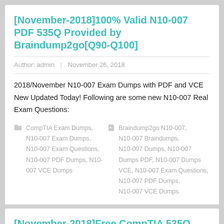[November-2018]100% Valid N10-007 PDF 535Q Provided by Braindump2go[Q90-Q100]
Author: admin | November 26, 2018
2018/November N10-007 Exam Dumps with PDF and VCE New Updated Today! Following are some new N10-007 Real Exam Questions:
CompTIA Exam Dumps, N10-007 Exam Dumps, N10-007 Exam Questions, N10-007 PDF Dumps, N10-007 VCE Dumps | Braindump2go N10-007, N10-007 Braindumps, N10-007 Dumps, N10-007 Dumps PDF, N10-007 Dumps VCE, N10-007 Exam Questions, N10-007 PDF Dumps, N10-007 VCE Dumps
[November-2018]Free CompTIA 535Q N10-007 PDF and VCE Brain Dumps